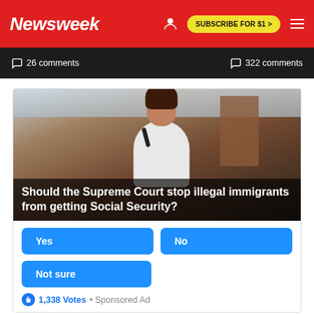Newsweek  SUBSCRIBE FOR $1 >
26 comments   322 comments
[Figure (photo): Woman holding a microphone speaking at an event, with overlay text reading: Should the Supreme Court stop illegal immigrants from getting Social Security? With Yes, No, Not sure poll buttons and 1,338 Votes • Sponsored Ad]
AdChoices  Sponsored